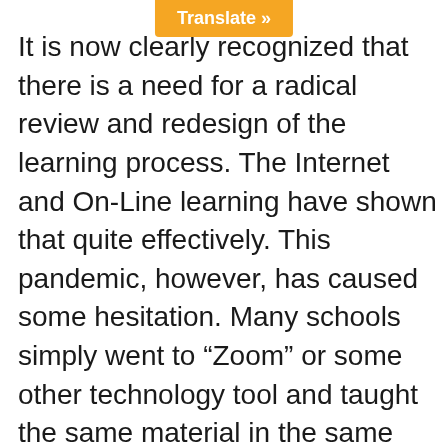Translate »
It is now clearly recognized that there is a need for a radical review and redesign of the learning process. The Internet and On-Line learning have shown that quite effectively. This pandemic, however, has caused some hesitation. Many schools simply went to “Zoom” or some other technology tool and taught the same material in the same manner with the same teachers as if they were in the classroom. That is not a workable answer. Parents across the country in surveys are expressing their opinions on this and those opinions are not favorable.